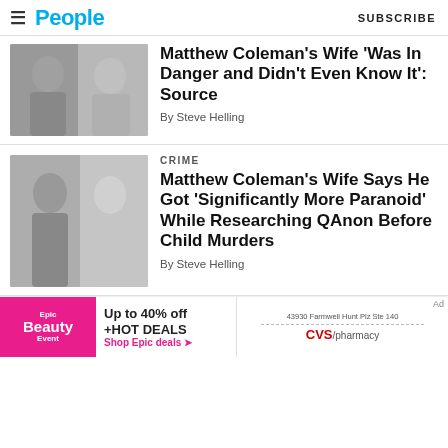People | SUBSCRIBE
[Figure (photo): Couple photo - man and woman smiling]
Matthew Coleman’s Wife ‘Was In Danger and Didn’t Even Know It’: Source
By Steve Helling
CRIME
[Figure (photo): Couple photo - man with beard and woman smiling]
Matthew Coleman’s Wife Says He Got ‘Significantly More Paranoid’ While Researching QAnon Before Child Murders
By Steve Helling
[Figure (infographic): Advertisement banner: Epic Beauty Event - Up to 40% off +HOT DEALS, Shop Epic deals. CVS/pharmacy address 43930 Farmwell Hunt Plz Ste 140.]